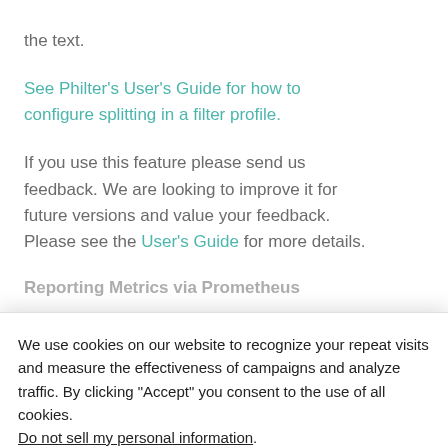the text.
See Philter's User's Guide for how to configure splitting in a filter profile.
If you use this feature please send us feedback. We are looking to improve it for future versions and value your feedback. Please see the User's Guide for more details.
Reporting Metrics via Prometheus
We use cookies on our website to recognize your repeat visits and measure the effectiveness of campaigns and analyze traffic. By clicking "Accept" you consent to the use of all cookies.
Do not sell my personal information.
Cookie Settings | Accept